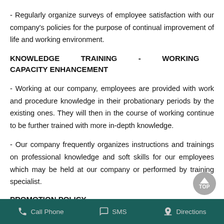- Regularly organize surveys of employee satisfaction with our company's policies for the purpose of continual improvement of life and working environment.
KNOWLEDGE TRAINING - WORKING CAPACITY ENHANCEMENT
- Working at our company, employees are provided with work and procedure knowledge in their probationary periods by the existing ones. They will then in the course of working continue to be further trained with more in-depth knowledge.
- Our company frequently organizes instructions and trainings on professional knowledge and soft skills for our employees which may be held at our company or performed by training specialist.
PROMOTION POLICY
All of our employees are given the opportunities to demonstrate their